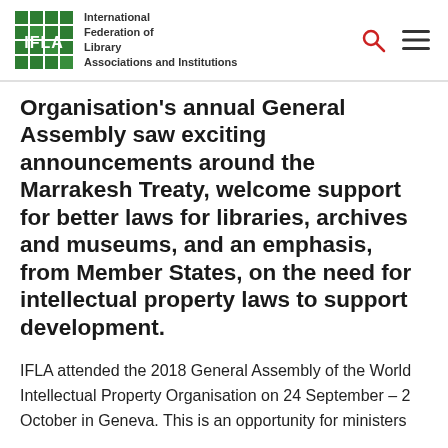International Federation of Library Associations and Institutions
Organisation’s annual General Assembly saw exciting announcements around the Marrakesh Treaty, welcome support for better laws for libraries, archives and museums, and an emphasis, from Member States, on the need for intellectual property laws to support development.
IFLA attended the 2018 General Assembly of the World Intellectual Property Organisation on 24 September – 2 October in Geneva. This is an opportunity for ministers